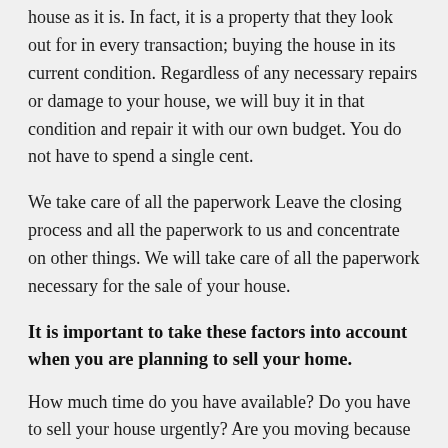house as it is. In fact, it is a property that they look out for in every transaction; buying the house in its current condition. Regardless of any necessary repairs or damage to your house, we will buy it in that condition and repair it with our own budget. You do not have to spend a single cent.
We take care of all the paperwork Leave the closing process and all the paperwork to us and concentrate on other things. We will take care of all the paperwork necessary for the sale of your house.
It is important to take these factors into account when you are planning to sell your home.
How much time do you have available? Do you have to sell your house urgently? Are you moving because of a change of job or a new job? Are you moving because of